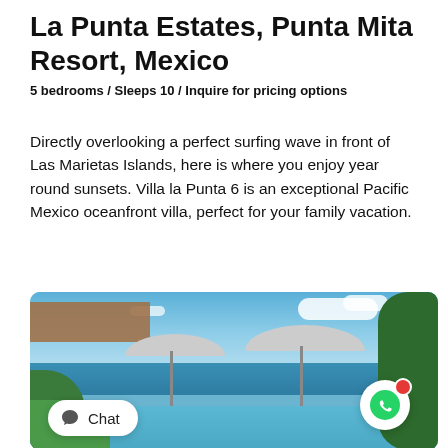La Punta Estates, Punta Mita Resort, Mexico
5 bedrooms / Sleeps 10 / Inquire for pricing options
Directly overlooking a perfect surfing wave in front of Las Marietas Islands, here is where you enjoy year round sunsets. Villa la Punta 6 is an exceptional Pacific Mexico oceanfront villa, perfect for your family vacation.
[Figure (photo): Outdoor pool area of a luxury oceanfront villa with white cantilever umbrellas, lush green tropical foliage on the sides, ocean and Las Marietas Islands visible in the background under a partly cloudy blue sky.]